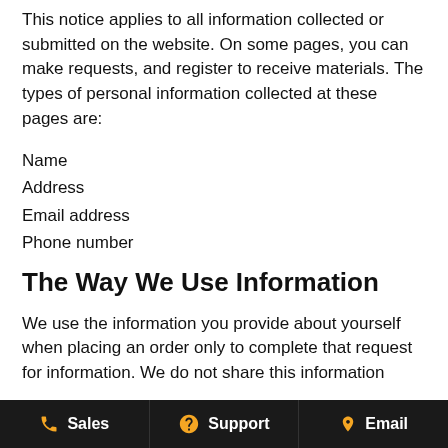This notice applies to all information collected or submitted on the website. On some pages, you can make requests, and register to receive materials. The types of personal information collected at these pages are:
Name
Address
Email address
Phone number
The Way We Use Information
We use the information you provide about yourself when placing an order only to complete that request for information. We do not share this information
Sales   Support   Email